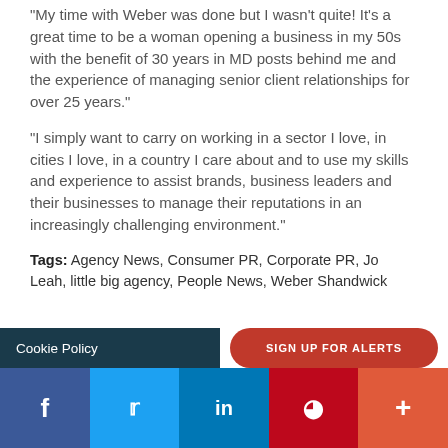“My time with Weber was done but I wasn’t quite! It’s a great time to be a woman opening a business in my 50s with the benefit of 30 years in MD posts behind me and the experience of managing senior client relationships for over 25 years.”
“I simply want to carry on working in a sector I love, in cities I love, in a country I care about and to use my skills and experience to assist brands, business leaders and their businesses to manage their reputations in an increasingly challenging environment.”
Tags: Agency News, Consumer PR, Corporate PR, Jo Leah, little big agency, People News, Weber Shandwick
Cookie Policy
SIGN UP FOR ALERTS